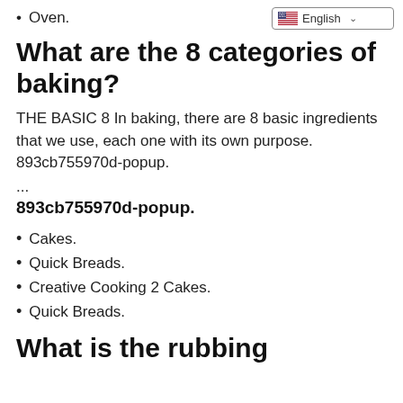Oven.
What are the 8 categories of baking?
THE BASIC 8 In baking, there are 8 basic ingredients that we use, each one with its own purpose. 893cb755970d-popup.
...
893cb755970d-popup.
Cakes.
Quick Breads.
Creative Cooking 2 Cakes.
Quick Breads.
What is the rubbing